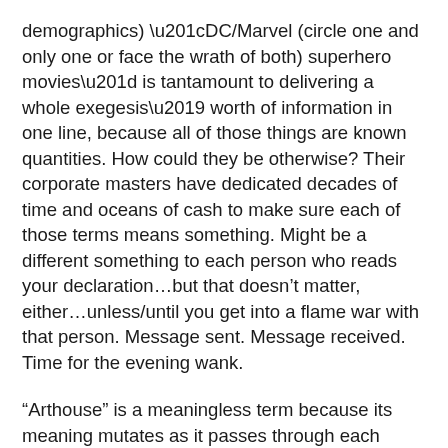demographics) “DC/Marvel (circle one and only one or face the wrath of both) superhero movies” is tantamount to delivering a whole exegesis’ worth of information in one line, because all of those things are known quantities. How could they be otherwise? Their corporate masters have dedicated decades of time and oceans of cash to make sure each of those terms means something. Might be a different something to each person who reads your declaration…but that doesn’t matter, either…unless/until you get into a flame war with that person. Message sent. Message received. Time for the evening wank.
“Arthouse” is a meaningless term because its meaning mutates as it passes through each speaker’s brain. This is intentional. Millions of admen knock years off their lives struggling to find words just like it every single day – words pregnant with significance despite signifying…well, not much at all, really…independent of some context. If a bearded film school graduate in a suit and thick-rimmed glasses, or a shaven-headed good ol’ boy in a stained wife-heater with his jeans